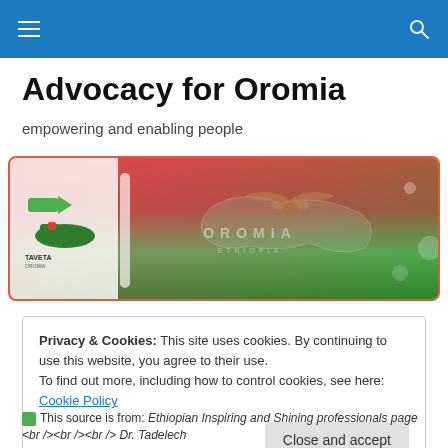Navigation bar with hamburger menu and search icon
Advocacy for Oromia
empowering and enabling people
[Figure (logo): Advocacy for Oromia banner image with organization logo on left, white divider bar, and Oromia map/text overlay on green-red gradient background]
Privacy & Cookies: This site uses cookies. By continuing to use this website, you agree to their use.
To find out more, including how to control cookies, see here: Cookie Policy
Close and accept
This source is from: Ethiopian Inspiring and Shining professionals page <br /><br /><br /> Dr. Tadelech